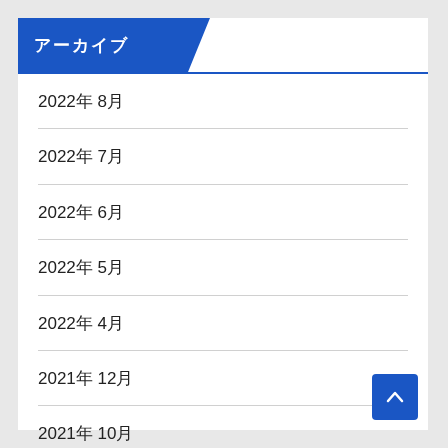アーカイブ
2022年 8月
2022年 7月
2022年 6月
2022年 5月
2022年 4月
2021年 12月
2021年 10月